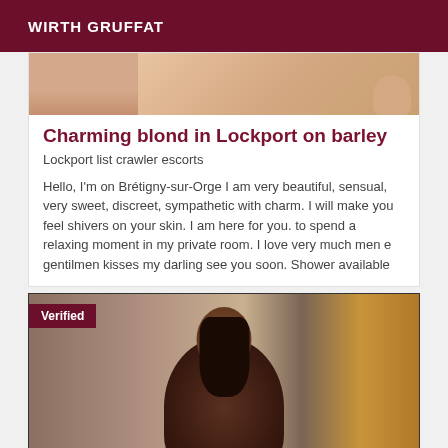WIRTH GRUFFAT
[Figure (photo): Partial photo of a person at the top of a listing card]
Charming blond in Lockport on barley
Lockport list crawler escorts
Hello, I'm on Brétigny-sur-Orge I am very beautiful, sensual, very sweet, discreet, sympathetic with charm. I will make you feel shivers on your skin. I am here for you. to spend a relaxing moment in my private room. I love very much men e gentilmen kisses my darling see you soon. Shower available
[Figure (photo): Photo of a dark-haired woman with a Verified badge overlay, orange curtain visible in background]